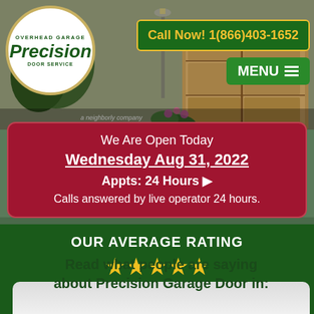[Figure (screenshot): Precision Overhead Garage Door Service website header with logo, garage door background photo, call now button, and menu button]
We Are Open Today
Wednesday Aug 31, 2022
Appts: 24 Hours ▶
Calls answered by live operator 24 hours.
OUR AVERAGE RATING
★★★★★
WITH 3492 REVIEWS
CLICK
TO VIEW LOCAL PHONE NUMBERS
Read what people are saying about Precision Garage Door in: